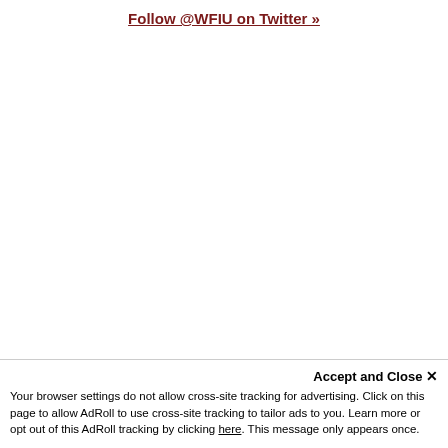Follow @WFIU on Twitter »
Accept and Close ✕
Your browser settings do not allow cross-site tracking for advertising. Click on this page to allow AdRoll to use cross-site tracking to tailor ads to you. Learn more or opt out of this AdRoll tracking by clicking here. This message only appears once.